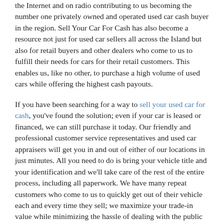the Internet and on radio contributing to us becoming the number one privately owned and operated used car cash buyer in the region. Sell Your Car For Cash has also become a resource not just for used car sellers all across the Island but also for retail buyers and other dealers who come to us to fulfill their needs for cars for their retail customers. This enables us, like no other, to purchase a high volume of used cars while offering the highest cash payouts.
If you have been searching for a way to sell your used car for cash, you've found the solution; even if your car is leased or financed, we can still purchase it today. Our friendly and professional customer service representatives and used car appraisers will get you in and out of either of our locations in just minutes. All you need to do is bring your vehicle title and your identification and we'll take care of the rest of the entire process, including all paperwork. We have many repeat customers who come to us to quickly get out of their vehicle each and every time they sell; we maximize your trade-in value while minimizing the hassle of dealing with the public or even worse, being far underpaid for what your vehicle is truly worth.